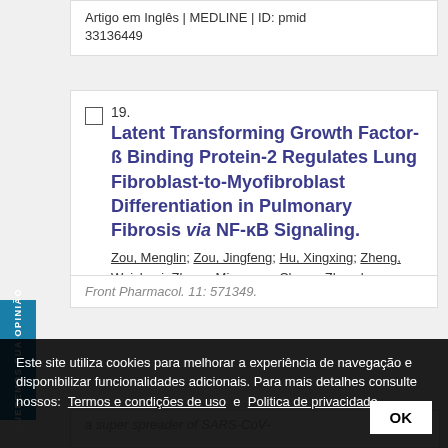Artigo em Inglês | MEDLINE | ID: pmid 33136449
19. Latent Transforming Growth Factor-ß Binding Protein-2 Regulates Lung Fibroblast-to-Myofibroblast Differentiation in Pulmonary Fibrosis via NF-κB Signaling. Zou, Menglin; Zou, Jingfeng; Hu, Xingxing; Zheng, Weishuai; Zhang, Mingyang; Cheng, Zhenshun.
Front Pharmacol. 11: 571349.
Este site utiliza cookies para melhorar a experiência de navegação e disponibilizar funcionalidades adicionais. Para mais detalhes consulte nossos: Termos e condições de uso e Politica de privacidade
a super spreader of SARS-CoV-